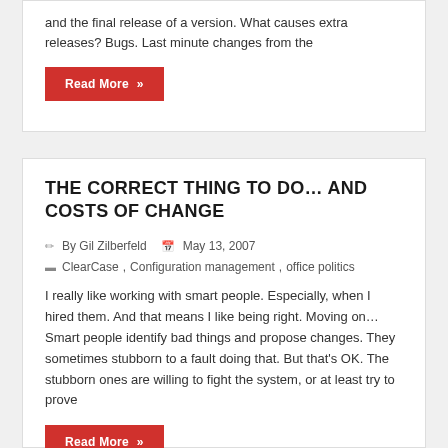and the final release of a version. What causes extra releases? Bugs. Last minute changes from the
Read More »
THE CORRECT THING TO DO… AND COSTS OF CHANGE
By Gil Zilberfeld   May 13, 2007
ClearCase, Configuration management, office politics
I really like working with smart people. Especially, when I hired them. And that means I like being right. Moving on… Smart people identify bad things and propose changes. They sometimes stubborn to a fault doing that. But that's OK. The stubborn ones are willing to fight the system, or at least try to prove
Read More »